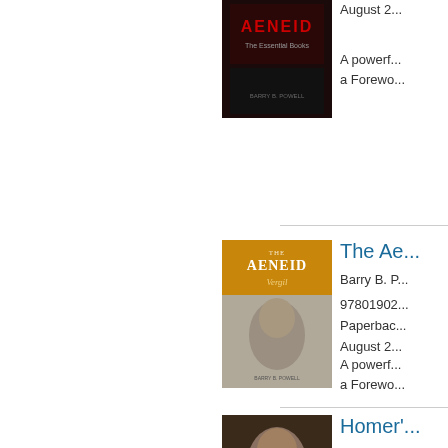[Figure (illustration): Book cover of The Aeneid (dark version, Essential Books series) with red/dark background]
August 2...
A powerf... a Forewo...
[Figure (illustration): Book cover of The Aeneid by Vergil with golden/amber top and marble bust of a bearded man]
The Ae...
Barry B. P...
97801902... Paperbac... August 2...
A powerf... a Forewo...
[Figure (illustration): Book cover of Homer's Iliad & Odyssey (Essential Books) with portrait of bearded man]
Homer'...
Barry B. P...
97801993... Paperbac... October 2...
A handy e...